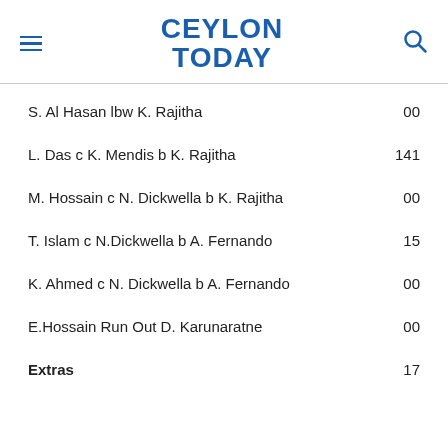CEYLON TODAY
S. Al Hasan lbw K. Rajitha   00
L. Das c K. Mendis b K. Rajitha   141
M. Hossain c N. Dickwella b K. Rajitha   00
T. Islam c N.Dickwella b A. Fernando   15
K. Ahmed c N. Dickwella b A. Fernando   00
E.Hossain Run Out D. Karunaratne   00
Extras   17